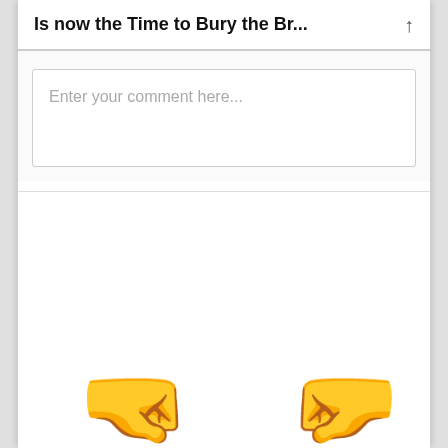Is now the Time to Bury the Br...
Enter your comment here...
[Figure (illustration): Two fist bump emoji facing each other (left fist pointing right-downward, right fist pointing left-downward), rendered as large yellow hand emojis on a white background.]